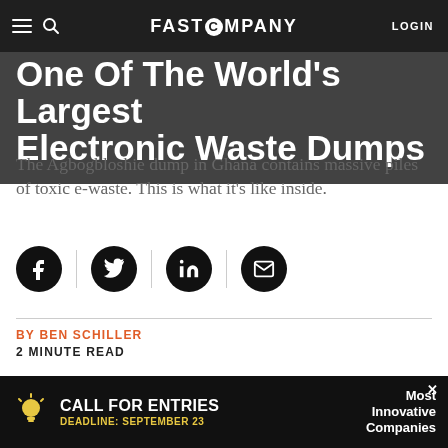FAST COMPANY — LOGIN
One Of The World's Largest Electronic Waste Dumps
The Agbogbloshie dump in Ghana contains massive piles of toxic e-waste. This is what it's like inside.
[Figure (illustration): Social share icons row: Facebook, Twitter, LinkedIn, Email — black circles with white icons, separated by vertical dividers]
BY BEN SCHILLER
2 MINUTE READ
Agbogbloshie was named one of the world's most polluted places in a recent report, and listening to David Fedele you can appreciate why. The Australian filmmaker...
[Figure (infographic): Ad banner: CALL FOR ENTRIES DEADLINE: SEPTEMBER 23 — Most Innovative Companies, black background with yellow lightbulb icon]